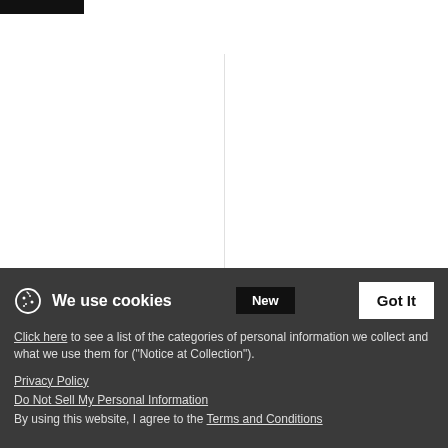[Figure (other): Black header bar at top left]
[Figure (other): Color swatches row for Kids T-Shirt: purple check, pink, teal, hot pink, green, plus sign]
#Goodvibes > hashtag Goodvibes - Kids' T-Shirt
$18.99
[Figure (other): Color swatches row for Kids Hoodie: purple check, teal, green, gray, pink, plus sign]
#Goodvibes > hashtag Goodvibes - Kids' Hoodie
$36.99
We use cookies
Click here to see a list of the categories of personal information we collect and what we use them for ("Notice at Collection").
Privacy Policy
Do Not Sell My Personal Information
By using this website, I agree to the Terms and Conditions